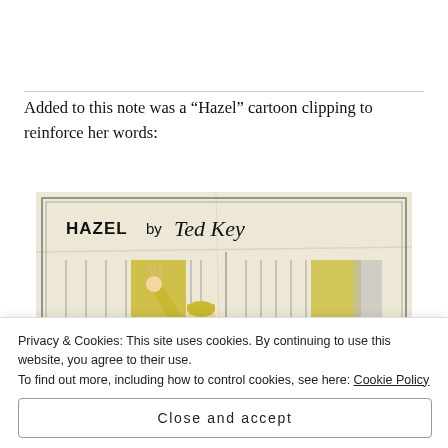Added to this note was a “Hazel” cartoon clipping to reinforce her words:
[Figure (illustration): A newspaper comic strip clipping titled 'HAZEL by Ted Key'. Shows a cartoon character with a yellow outfit being pushed or bounced, illustrated in black and yellow/olive colors on aged, creased paper.]
Privacy & Cookies: This site uses cookies. By continuing to use this website, you agree to their use.
To find out more, including how to control cookies, see here: Cookie Policy
Close and accept